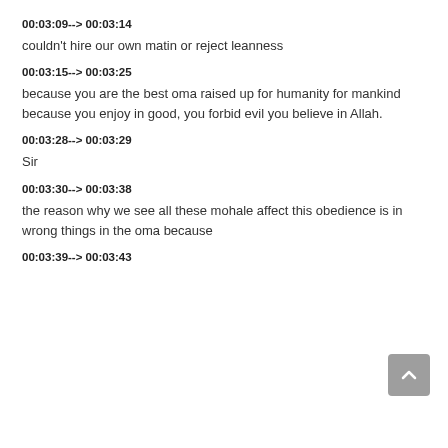00:03:09--> 00:03:14
couldn't hire our own matin or reject leanness
00:03:15--> 00:03:25
because you are the best oma raised up for humanity for mankind because you enjoy in good, you forbid evil you believe in Allah.
00:03:28--> 00:03:29
Sir
00:03:30--> 00:03:38
the reason why we see all these mohale affect this obedience is in wrong things in the oma because
00:03:39--> 00:03:43